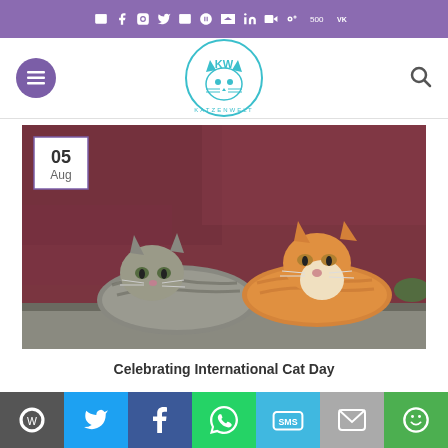Social media icons bar (email, facebook, instagram, twitter, email, pinterest, rss, linkedin, youtube, 500px, VK)
[Figure (logo): Katzenwelt circular logo with cartoon cat face in teal/blue colors, text KATZENWELT around bottom]
[Figure (photo): Two kittens sitting together against a dark red/maroon wall on a concrete ledge. Left kitten is a grey tabby, right kitten is an orange/ginger tabby. Date badge showing 05 Aug overlaid on top-left corner.]
Celebrating International Cat Day
Share bar: WordPress, Twitter, Facebook, WhatsApp, SMS, Email, More